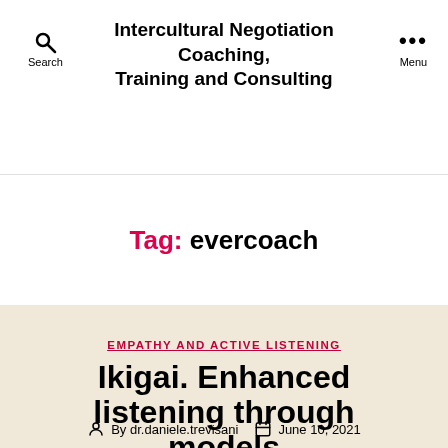Search | Intercultural Negotiation Coaching, Training and Consulting | Menu
Tag: evercoach
EMPATHY AND ACTIVE LISTENING
Ikigai. Enhanced listening through models
By dr.daniele.trevisani   June 10, 2021